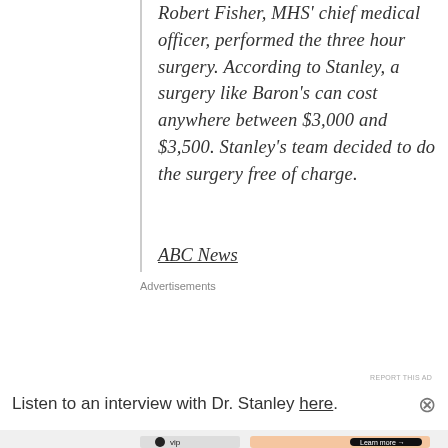Robert Fisher, MHS' chief medical officer, performed the three hour surgery. According to Stanley, a surgery like Baron's can cost anywhere between $3,000 and $3,500. Stanley's team decided to do the surgery free of charge.
ABC News
Advertisements
[Figure (other): WooCommerce advertisement banner: 'How to start selling subscriptions online']
Listen to an interview with Dr. Stanley here.
Advertisements
[Figure (other): WordPress VIP advertisement banner with 'Learn more' button]